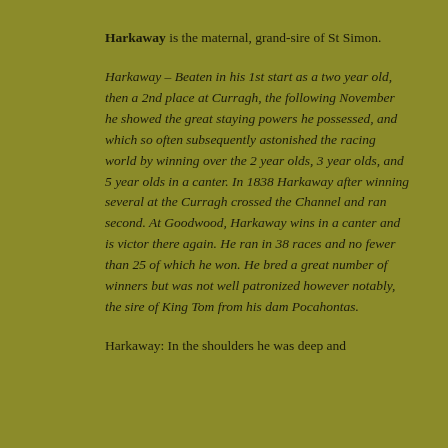Harkaway is the maternal, grand-sire of St Simon.
Harkaway – Beaten in his 1st start as a two year old, then a 2nd place at Curragh, the following November he showed the great staying powers he possessed, and which so often subsequently astonished the racing world by winning over the 2 year olds, 3 year olds, and 5 year olds in a canter. In 1838 Harkaway after winning several at the Curragh crossed the Channel and ran second. At Goodwood, Harkaway wins in a canter and is victor there again. He ran in 38 races and no fewer than 25 of which he won. He bred a great number of winners but was not well patronized however notably, the sire of King Tom from his dam Pocahontas.
Harkaway: In the shoulders he was deep and